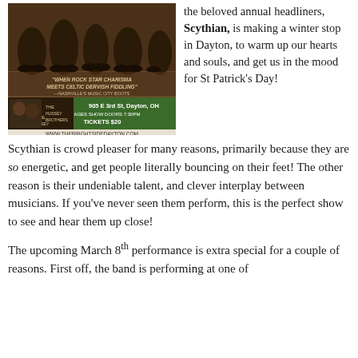[Figure (photo): Event poster for Scythian concert at The Brightside, 905 E 3rd St, Dayton OH. Shows band members, quote 'When Rock Star Charisma Meets Celtic Dervish Fiddling' - Nashville's Music City Boots, with The Hussey Brothers. All Ages Show, Doors 7:30PM, Tickets $20, www.thebrightsidedayton.com]
the beloved annual headliners, Scythian, is making a winter stop in Dayton, to warm up our hearts and souls, and get us in the mood for St Patrick's Day!
Scythian is crowd pleaser for many reasons, primarily because they are so energetic, and get people literally bouncing on their feet! The other reason is their undeniable talent, and clever interplay between musicians. If you've never seen them perform, this is the perfect show to see and hear them up close!
The upcoming March 8th performance is extra special for a couple of reasons. First off, the band is performing at one of